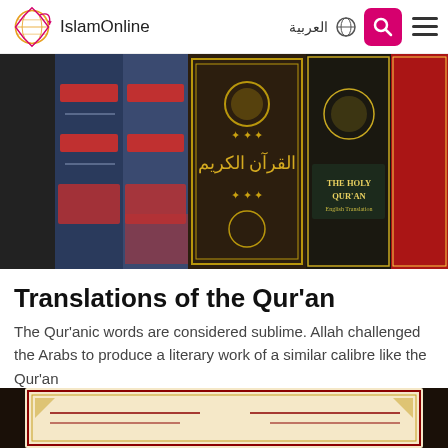IslamOnline | العربية
[Figure (photo): Spines of several Quran books on a shelf, including 'The Holy Qur'an' in English]
Translations of the Qur'an
The Qur'anic words are considered sublime. Allah challenged the Arabs to produce a literary work of a similar calibre like the Qur'an
[Figure (photo): Partial view of an open Quran with decorative borders, partially cut off at bottom]